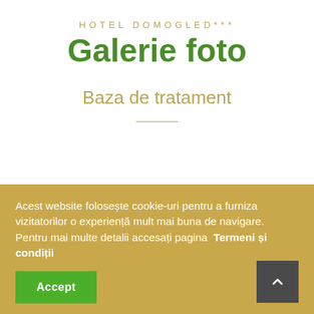HOTEL DOMOGLED***
Galerie foto
Baza de tratament
Acest website folosește cookie-uri pentru a furniza vizitatorilor o experiență mult mai buna de navigare. Pentru mai multe detalii accesați pagina Termeni și condiții